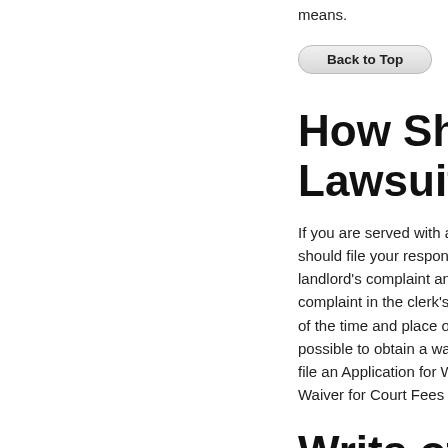means.
Back to Top
How Should Lawsuit?
If you are served with an should file your response landlord's complaint and t complaint in the clerk's o of the time and place of th possible to obtain a waive file an Application for Wai Waiver for Court Fees an
Writs of Poss
If the case goes to trial a